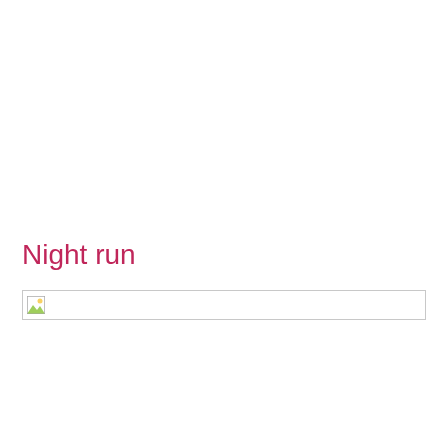Night run
[Figure (photo): Broken/unloaded image placeholder with thin border rectangle]